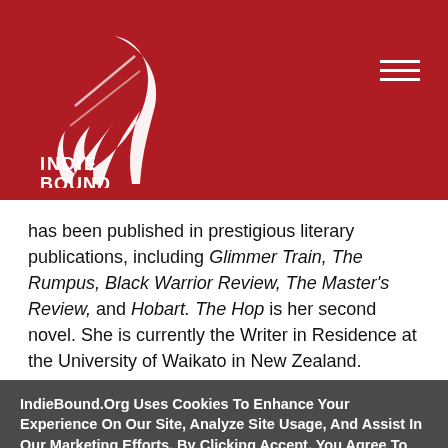[Figure (logo): IndieBound logo: white feather/book quill icon with INDIE BOUND text, on red background]
has been published in prestigious literary publications, including Glimmer Train, The Rumpus, Black Warrior Review, The Master's Review, and Hobart. The Hop is her second novel. She is currently the Writer in Residence at the University of Waikato in New Zealand.
IndieBound.Org Uses Cookies To Enhance Your Experience On Our Site, Analyze Site Usage, And Assist In Our Marketing Efforts. By Clicking Accept, You Agree To The Storing Of Cookies On Your Device. View Our Cookie Policy.
Give me more info
Accept all Cookies